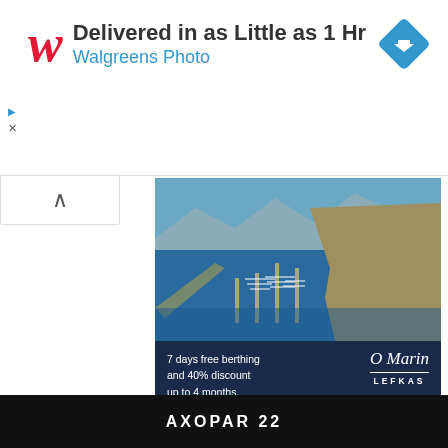[Figure (screenshot): Walgreens Photo advertisement banner: red cursive W logo, headline 'Delivered in as Little as 1 Hr', subline 'Walgreens Photo', blue navigation diamond icon top right, play and close icons on left side.]
[Figure (photo): Aerial photo of a marina with many sailboats docked along piers, blue water, coastline and mountains in background. O Marin Lefkas advertisement overlay with dark navy bottom panel: '7 days free berthing and 40% discount up to 4 months.', 'Terms & Conditions Apply', 'BOOK NOW' in orange.]
AXOPAR 22